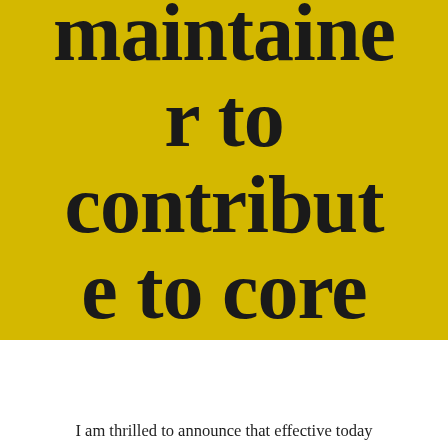maintainer to contribute to core
I am thrilled to announce that effective today